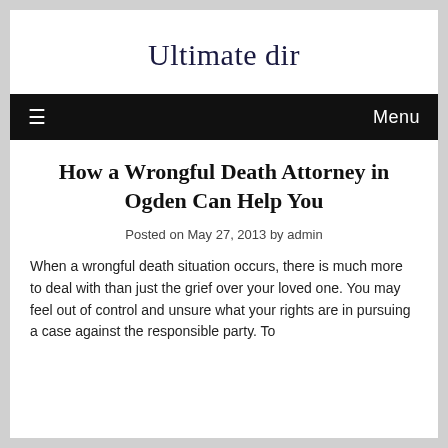Ultimate dir
≡  Menu
How a Wrongful Death Attorney in Ogden Can Help You
Posted on May 27, 2013 by admin
When a wrongful death situation occurs, there is much more to deal with than just the grief over your loved one. You may feel out of control and unsure what your rights are in pursuing a case against the responsible party. To